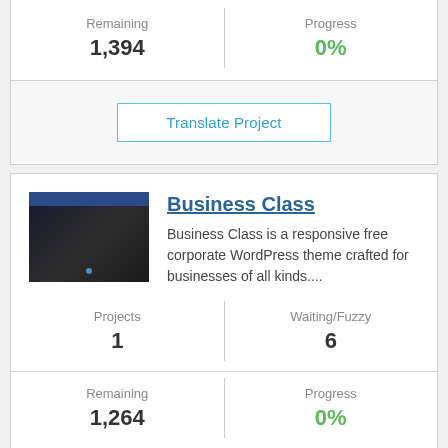| Remaining | Progress |
| --- | --- |
| 1,394 | 0% |
Translate Project
Business Class
Business Class is a responsive free corporate WordPress theme crafted for businesses of all kinds....
| Projects | Waiting/Fuzzy |
| --- | --- |
| 1 | 6 |
| Remaining | Progress |
| --- | --- |
| 1,264 | 0% |